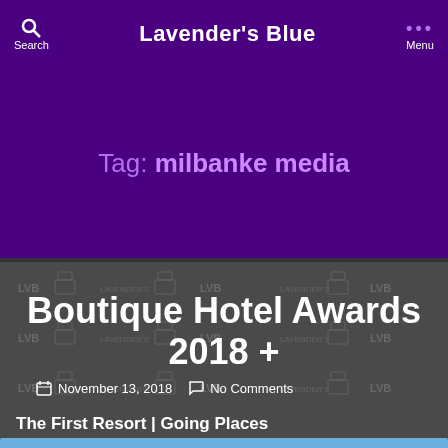Lavender's Blue
Tag: milbanke media
Boutique Hotel Awards 2018 +
November 13, 2018   No Comments
The First Resort | Going Places